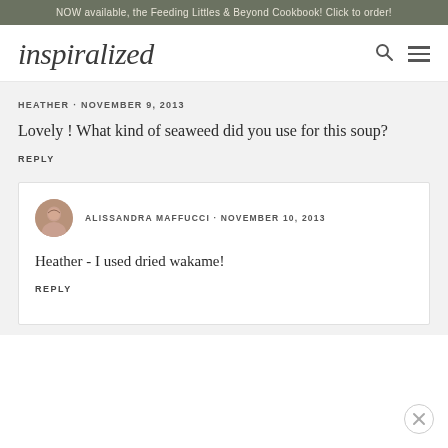NOW available, the Feeding Littles & Beyond Cookbook! Click to order!
[Figure (logo): Inspiralized website logo in italic serif font]
HEATHER · NOVEMBER 9, 2013
Lovely ! What kind of seaweed did you use for this soup?
REPLY
[Figure (photo): Circular avatar photo of Alissandra Maffucci]
ALISSANDRA MAFFUCCI · NOVEMBER 10, 2013
Heather - I used dried wakame!
REPLY